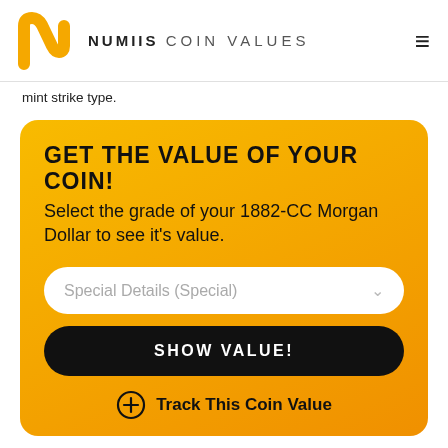NUMIIS COIN VALUES
mint strike type.
[Figure (other): Promotional card with coin grade selector for 1882-CC Morgan Dollar, featuring dropdown and Show Value button]
GET THE VALUE OF YOUR COIN!
Select the grade of your 1882-CC Morgan Dollar to see it's value.
Special Details (Special)
SHOW VALUE!
Track This Coin Value